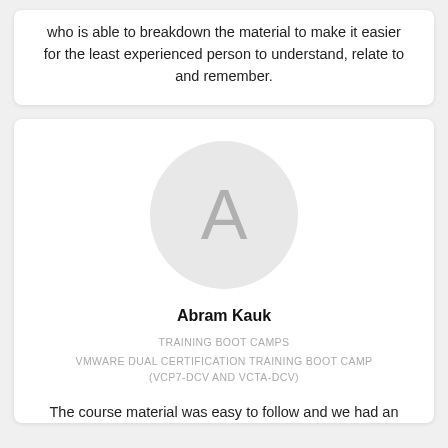who is able to breakdown the material to make it easier for the least experienced person to understand, relate to and remember.
[Figure (illustration): Circular avatar placeholder with a large letter 'A' in light gray on a light gray circle background]
Abram Kauk
TRAINING BOOT CAMPS VMWARE DUAL CERTIFICATION TRAINING BOOT CAMP (VCP7-DCV AND VCTA-DCV)
The course material was easy to follow and we had an